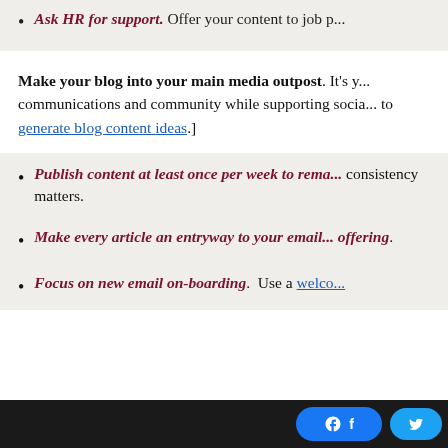Ask HR for support. Offer your content to job p...
Make your blog into your main media outpost. It's y... communications and community while supporting socia... to generate blog content ideas.]
Publish content at least once per week to rema... consistency matters.
Make every article an entryway to your email... offering.
Focus on new email on-boarding. Use a welco...
Social share buttons